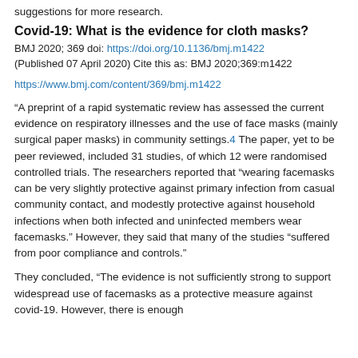suggestions for more research.
Covid-19: What is the evidence for cloth masks?
BMJ 2020; 369 doi: https://doi.org/10.1136/bmj.m1422 (Published 07 April 2020) Cite this as: BMJ 2020;369:m1422
https://www.bmj.com/content/369/bmj.m1422
“A preprint of a rapid systematic review has assessed the current evidence on respiratory illnesses and the use of face masks (mainly surgical paper masks) in community settings.4 The paper, yet to be peer reviewed, included 31 studies, of which 12 were randomised controlled trials. The researchers reported that “wearing facemasks can be very slightly protective against primary infection from casual community contact, and modestly protective against household infections when both infected and uninfected members wear facemasks.” However, they said that many of the studies “suffered from poor compliance and controls.”
They concluded, “The evidence is not sufficiently strong to support widespread use of facemasks as a protective measure against covid-19. However, there is enough